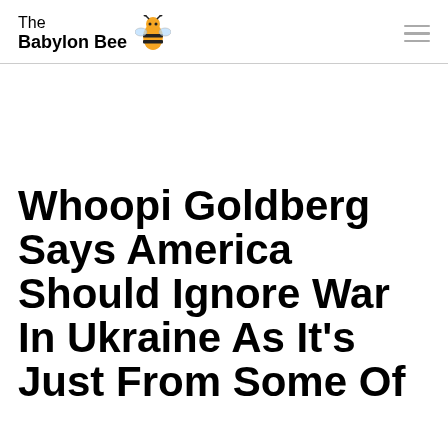The Babylon Bee
Whoopi Goldberg Says America Should Ignore War In Ukraine As It's Just From Some Of